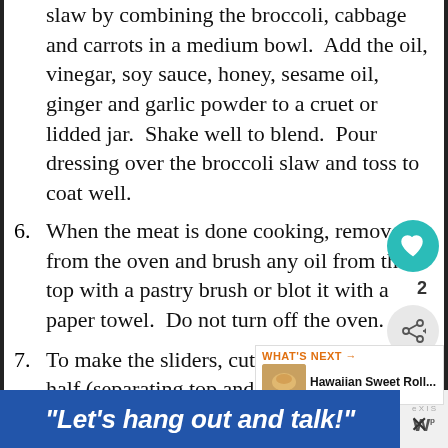slaw by combining the broccoli, cabbage and carrots in a medium bowl.  Add the oil, vinegar, soy sauce, honey, sesame oil, ginger and garlic powder to a cruet or lidded jar.  Shake well to blend.  Pour dressing over the broccoli slaw and toss to coat well.
6. When the meat is done cooking, remove it from the oven and brush any oil from the top with a pastry brush or blot it with a paper towel.  Do not turn off the oven.
7. To make the sliders, cut the rolls in half (separating top and bottom) and place the bottom halves of the rolls in a 9x12-in casserole dish.  Place the meat on top of the rolls.  Spread the broccoli slaw over the meat.  Place the top halves of the rolls over the broccoli slaw.  B[rush the tops] of the rolls with the oil and sprinkle the sesame seeds over them.
"Let's hang out and talk!"